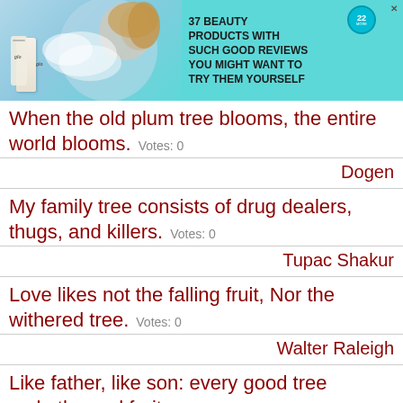[Figure (photo): Advertisement banner for beauty products. Teal/cyan background with a product bottle on the left, a woman's profile on the right, and text reading '37 BEAUTY PRODUCTS WITH SUCH GOOD REVIEWS YOU MIGHT WANT TO TRY THEM YOURSELF' with a badge showing '22'.]
When the old plum tree blooms, the entire world blooms. Votes: 0
Dogen
My family tree consists of drug dealers, thugs, and killers. Votes: 0
Tupac Shakur
Love likes not the falling fruit, Nor the withered tree. Votes: 0
Walter Raleigh
Like father, like son: every good tree maketh good fruit.